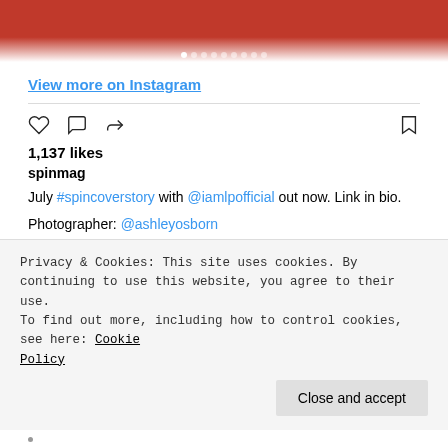[Figure (photo): Top portion of an Instagram post showing a red background with partial image, carousel navigation dots visible]
View more on Instagram
[Figure (infographic): Instagram action icons: heart (like), comment bubble, share arrow on left; bookmark on right]
1,137 likes
spinmag
July #spincoverstory with @iamlpofficial out now. Link in bio.
Photographer: @ashleyosborn
Writer: @maddoggrant
Creative Direction, Direction, Design, Edit: @dannykleinmusic
DP: @jdart.cine
Photo Asst: @fencetaken
Privacy & Cookies: This site uses cookies. By continuing to use this website, you agree to their use.
To find out more, including how to control cookies, see here: Cookie Policy
Close and accept